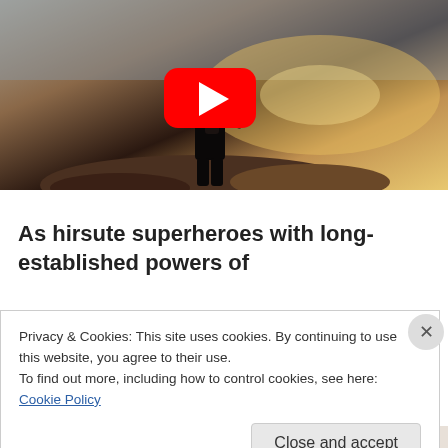[Figure (screenshot): YouTube video thumbnail showing a silhouette of a person standing on rocks by the sea with a sunset/golden light. A red YouTube play button is overlaid in the center of the image.]
As hirsute superheroes with long-established powers of
Privacy & Cookies: This site uses cookies. By continuing to use this website, you agree to their use.
To find out more, including how to control cookies, see here: Cookie Policy
Close and accept